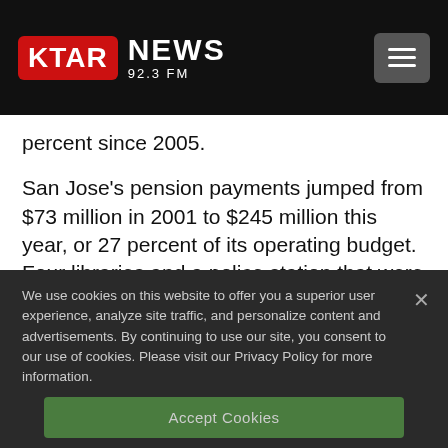[Figure (logo): KTAR News 92.3 FM logo with red box around KTAR and white NEWS text, hamburger menu button on right]
percent since 2005.
San Jose's pension payments jumped from $73 million in 2001 to $245 million this year, or 27 percent of its operating budget. Four libraries and a police station that were built
We use cookies on this website to offer you a superior user experience, analyze site traffic, and personalize content and advertisements. By continuing to use our site, you consent to our use of cookies. Please visit our Privacy Policy for more information.
Accept Cookies